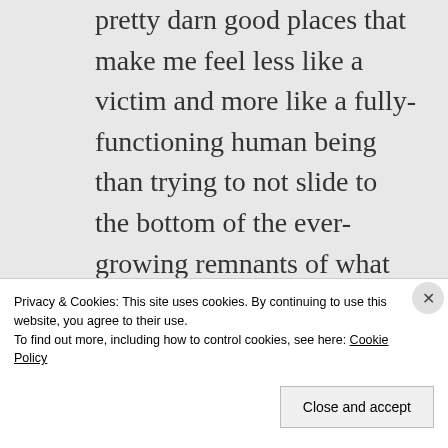pretty darn good places that make me feel less like a victim and more like a fully-functioning human being than trying to not slide to the bottom of the ever-growing remnants of what used to the American middle class.
Privacy & Cookies: This site uses cookies. By continuing to use this website, you agree to their use.
To find out more, including how to control cookies, see here: Cookie Policy
Close and accept